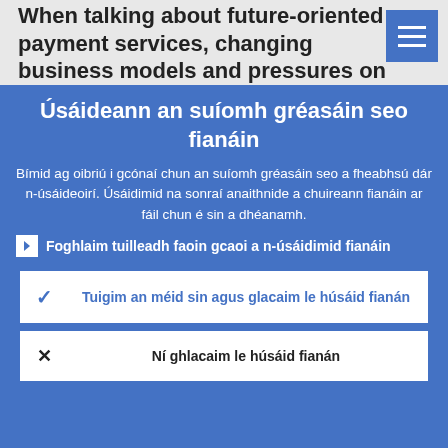When talking about future-oriented payment services, changing business models and pressures on revenues, we
Úsáideann an suíomh gréasáin seo fianáin
Bímid ag oibriú i gcónaí chun an suíomh gréasáin seo a fheabhsú dár n-úsáideoirí. Úsáidimid na sonraí anaithnide a chuireann fianáin ar fáil chun é sin a dhéanamh.
Foghlaim tuilleadh faoin gcaoi a n-úsáidimid fianáin
Tuigim an méid sin agus glacaim le húsáid fianán
Ní ghlacaim le húsáid fianán